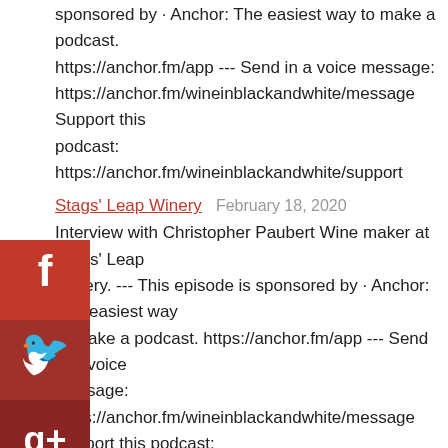sponsored by · Anchor: The easiest way to make a podcast. https://anchor.fm/app --- Send in a voice message: https://anchor.fm/wineinblackandwhite/message Support this podcast: https://anchor.fm/wineinblackandwhite/support
Stags' Leap Winery   February 18, 2020
Interview with Christopher Paubert Wine maker at Stags' Leap Winery. --- This episode is sponsored by · Anchor: The easiest way to make a podcast. https://anchor.fm/app --- Send in a voice message: https://anchor.fm/wineinblackandwhite/message Support this podcast: https://anchor.fm/wineinblackandwhite/support
Palazzo Wine   January 16, 2020
Interview with Scott Palazzo the owner and #winemaker of @Palazzowine. Cheers #goodjuice --- This episode is sponsored by · Anchor: The easiest way to make a podcast. https://anchor.fm/app --- Send in a voice message: https://anchor.fm/wineinblackandwhite/message Support this podcast: https://anchor.fm/wineinblackandwhite/support